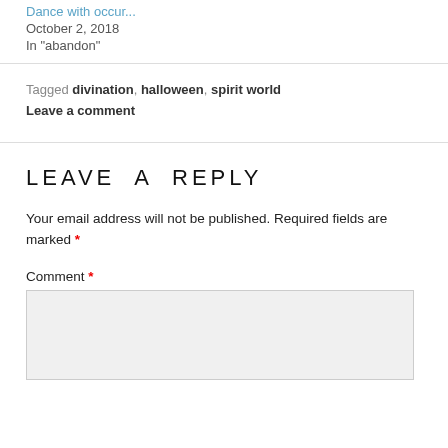October 2, 2018
In "abandon"
Tagged divination, halloween, spirit world
Leave a comment
LEAVE A REPLY
Your email address will not be published. Required fields are marked *
Comment *